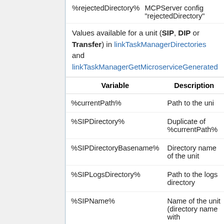%rejectedDirectory%   MCPServer config "rejectedDirectory"
Values available for a unit (SIP, DIP or Transfer) in linkTaskManagerDirectories and linkTaskManagerGetMicroserviceGenerated
| Variable | Description |
| --- | --- |
| %currentPath% | Path to the uni |
| %SIPDirectory% | Duplicate of %currentPath% |
| %SIPDirectoryBasename% | Directory name of the unit |
| %SIPLogsDirectory% | Path to the logs directory |
| %SIPName% | Name of the unit (directory name with |